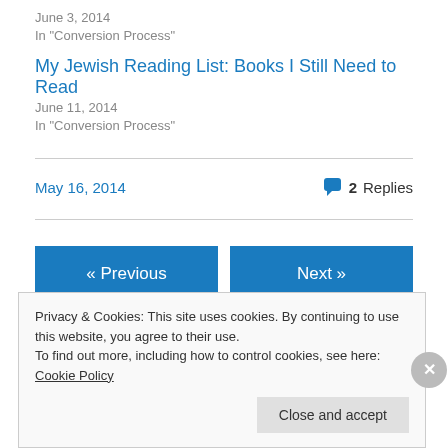June 3, 2014
In "Conversion Process"
My Jewish Reading List: Books I Still Need to Read
June 11, 2014
In "Conversion Process"
May 16, 2014   2 Replies
« Previous
Next »
Privacy & Cookies: This site uses cookies. By continuing to use this website, you agree to their use.
To find out more, including how to control cookies, see here: Cookie Policy